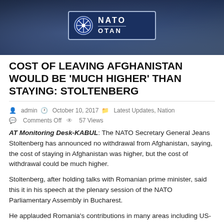[Figure (photo): Blurred background photo showing a NATO/OTAN sign with the NATO emblem against a blue/dark background]
COST OF LEAVING AFGHANISTAN WOULD BE 'MUCH HIGHER' THAN STAYING: STOLTENBERG
admin   October 10, 2017   Latest Updates, Nation   Comments Off   57 Views
AT Monitoring Desk-KABUL: The NATO Secretary General Jeans Stoltenberg has announced no withdrawal from Afghanistan, saying, the cost of staying in Afghanistan was higher, but the cost of withdrawal could be much higher.
Stoltenberg, after holding talks with Romanian prime minister, said this it in his speech at the plenary session of the NATO Parliamentary Assembly in Bucharest.
He applauded Romania's contributions in many areas including US-led NATO war on terror in Afghanistan, and Kosovo. "Our Alliance has to face many different threats and challenges at the same time." Stoltenberg added...